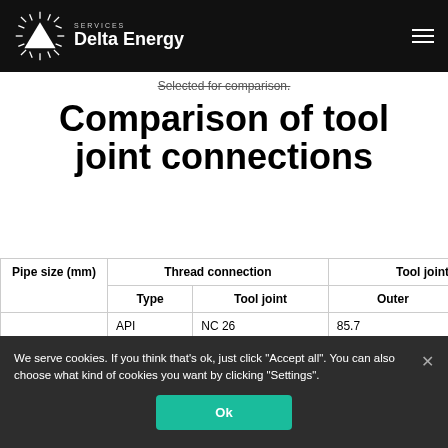Delta Energy Services
Selected for comparison.
Comparison of tool joint connections
| Pipe size (mm) | Thread connection — Type | Thread connection — Tool joint | Tool joint diameter (mm) — Outer | Tool joint diameter (mm) — Inner |
| --- | --- | --- | --- | --- |
|  | API | NC 26 | 85.7 | 44.45 |
We serve cookies. If you think that's ok, just click "Accept all". You can also choose what kind of cookies you want by clicking "Settings".